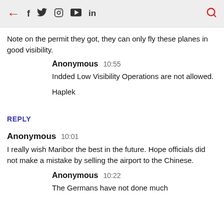← f 🐦 📷 ▶ in 🔍
Note on the permit they got, they can only fly these planes in good visibility.
Anonymous  10:55
Indded Low Visibility Operations are not allowed.

Haplek
REPLY
Anonymous  10:01
I really wish Maribor the best in the future. Hope officials did not make a mistake by selling the airport to the Chinese.
Anonymous  10:22
The Germans have not done much with it, I'd imagine, but this